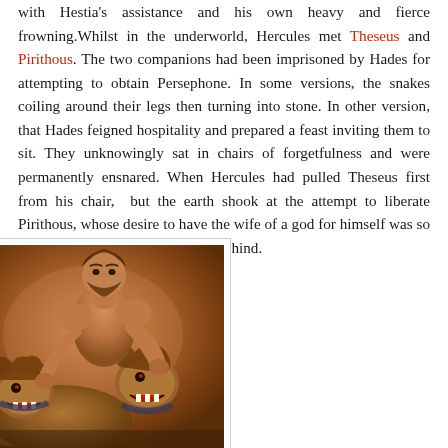with Hestia's assistance and his own heavy and fierce frowning. Whilst in the underworld, Hercules met Theseus and Pirithous. The two companions had been imprisoned by Hades for attempting to obtain Persephone. In some versions, the snakes coiling around their legs then turning into stone. In other version, that Hades feigned hospitality and prepared a feast inviting them to sit. They unknowingly sat in chairs of forgetfulness and were permanently ensnared. When Hercules had pulled Theseus first from his chair, but the earth shook at the attempt to liberate Pirithous, whose desire to have the wife of a god for himself was so insulting he was doomed to stay behind.
[Figure (illustration): Illustration of Hercules wrestling with Cerberus, the multi-headed dog of the underworld. A muscular man grapples with two lion/dog-like heads against a warm brown background.]